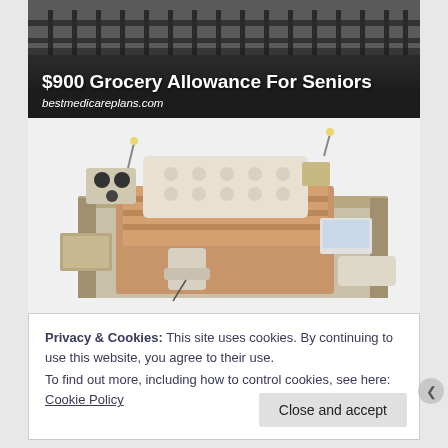[Figure (photo): Advertisement banner showing a building with metal railings/stairs in dark background, with text overlay '$900 Grocery Allowance For Seniors' and 'bestmedicareplans.com']
$900 Grocery Allowance For Seniors
bestmedicareplans.com
[Figure (photo): Product photo of a modern luxury smart bed with built-in speakers, storage drawers, massage chair attachments, laptop stand, and reading lamps on a cream/beige leather frame with brown bedding]
Privacy & Cookies: This site uses cookies. By continuing to use this website, you agree to their use.
To find out more, including how to control cookies, see here: Cookie Policy